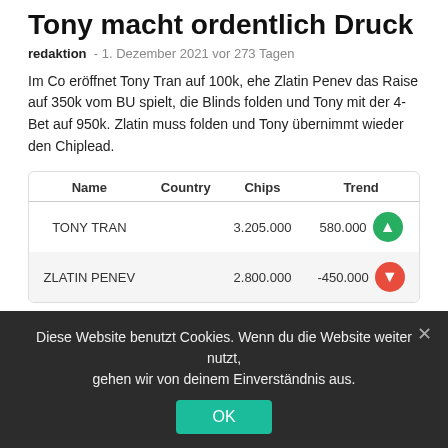Tony macht ordentlich Druck
redaktion - 1. Dezember 2021 vor 273 Tagen
Im Co eröffnet Tony Tran auf 100k, ehe Zlatin Penev das Raise auf 350k vom BU spielt, die Blinds folden und Tony mit der 4-Bet auf 950k. Zlatin muss folden und Tony übernimmt wieder den Chiplead.
| Name | Country | Chips | Trend |
| --- | --- | --- | --- |
| TONY TRAN |  | 3.205.000 | 580.000 ▲ |
| ZLATIN PENEV |  | 2.800.000 | -450.000 ▼ |
Vadzim verdoppelt
Diese Website benutzt Cookies. Wenn du die Website weiter nutzt, gehen wir von deinem Einverständnis aus.